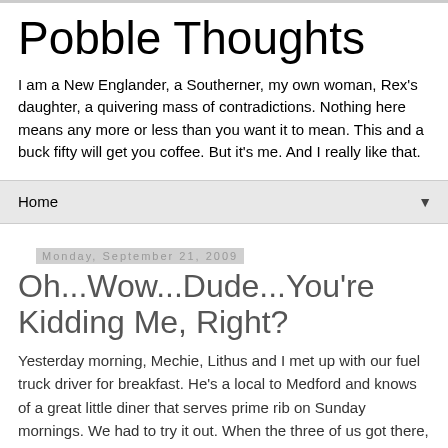Pobble Thoughts
I am a New Englander, a Southerner, my own woman, Rex's daughter, a quivering mass of contradictions. Nothing here means any more or less than you want it to mean. This and a buck fifty will get you coffee. But it's me. And I really like that.
Home
Monday, September 21, 2009
Oh...Wow...Dude...You're Kidding Me, Right?
Yesterday morning, Mechie, Lithus and I met up with our fuel truck driver for breakfast. He's a local to Medford and knows of a great little diner that serves prime rib on Sunday mornings. We had to try it out. When the three of us got there, the driver says "I'm